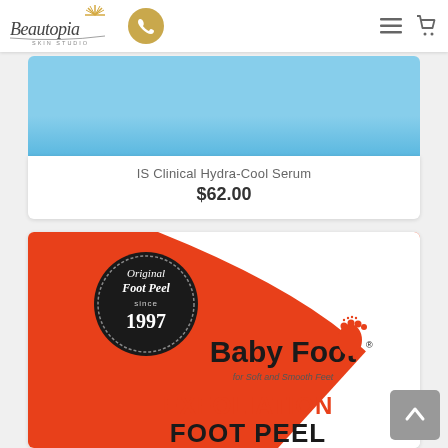[Figure (screenshot): Beautopia Skin Studio navigation bar with logo, phone button, hamburger menu icon, and cart icon]
[Figure (photo): IS Clinical Hydra-Cool Serum product image with light blue background]
IS Clinical Hydra-Cool Serum
$62.00
[Figure (photo): Baby Foot Exfoliation Foot Peel product box with red/white design, 'Original Foot Peel since 1997' badge, Baby Foot logo with foot icon, tagline 'for Soft and Smooth Feet', text 'EXFOLIATION FOOT PEEL']